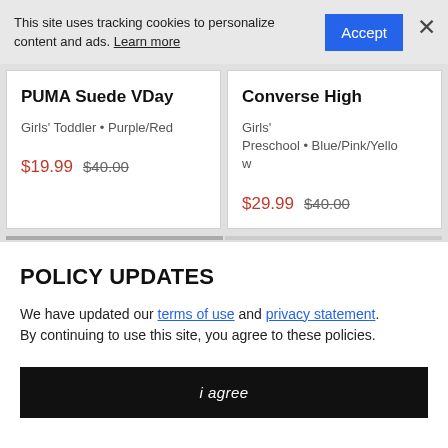This site uses tracking cookies to personalize content and ads. Learn more
PUMA Suede VDay
Girls' Toddler • Purple/Red
$19.99  $40.00
Converse High
Girls' Preschool • Blue/Pink/Yellow
$29.99  $40.00
POLICY UPDATES
We have updated our terms of use and privacy statement. By continuing to use this site, you agree to these policies.
i agree